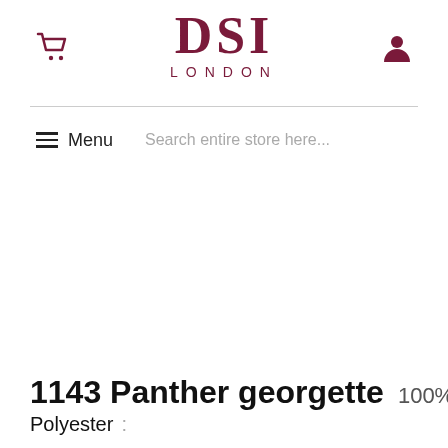[Figure (logo): DSI London logo with serif bold lettering and 'LONDON' subtitle, dark crimson/maroon color]
Menu   Search entire store here...
1143 Panther georgette 100% Polyester :